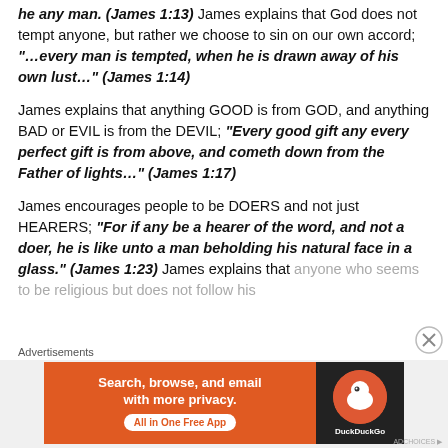he any man. (James 1:13) James explains that God does not tempt anyone, but rather we choose to sin on our own accord; "…every man is tempted, when he is drawn away of his own lust…" (James 1:14)
James explains that anything GOOD is from GOD, and anything BAD or EVIL is from the DEVIL; "Every good gift any every perfect gift is from above, and cometh down from the Father of lights…" (James 1:17)
James encourages people to be DOERS and not just HEARERS; "For if any be a hearer of the word, and not a doer, he is like unto a man beholding his natural face in a glass." (James 1:23) James explains that anyone who seems to be religious but does not follow his
[Figure (screenshot): Advertisement banner for DuckDuckGo: 'Search, browse, and email with more privacy. All in One Free App' with DuckDuckGo logo on dark background.]